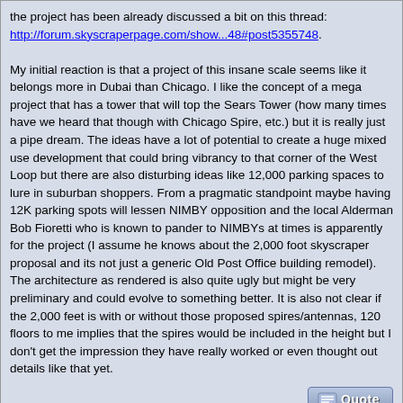the project has been already discussed a bit on this thread: http://forum.skyscraperpage.com/show...48#post5355748.

My initial reaction is that a project of this insane scale seems like it belongs more in Dubai than Chicago. I like the concept of a mega project that has a tower that will top the Sears Tower (how many times have we heard that though with Chicago Spire, etc.) but it is really just a pipe dream. The ideas have a lot of potential to create a huge mixed use development that could bring vibrancy to that corner of the West Loop but there are also disturbing ideas like 12,000 parking spaces to lure in suburban shoppers. From a pragmatic standpoint maybe having 12K parking spots will lessen NIMBY opposition and the local Alderman Bob Fioretti who is known to pander to NIMBYs at times is apparently for the project (I assume he knows about the 2,000 foot skyscraper proposal and its not just a generic Old Post Office building remodel). The architecture as rendered is also quite ugly but might be very preliminary and could evolve to something better. It is also not clear if the 2,000 feet is with or without those proposed spires/antennas, 120 floors to me implies that the spires would be included in the height but I don't get the impression they have really worked or even thought out details like that yet.
Posted Jul 22, 2011, 11:56 PM
#39
Join Date: Oct 2008
Location: east village, chicago
Posts: 3,290
george